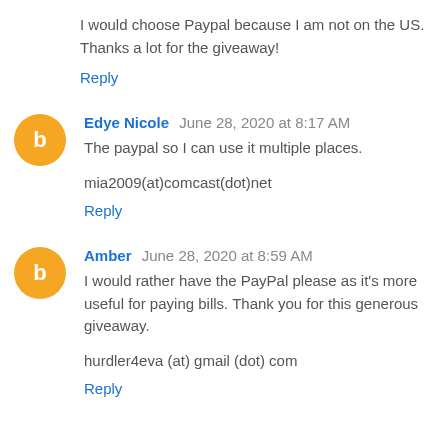I would choose Paypal because I am not on the US. Thanks a lot for the giveaway!
Reply
Edye Nicole  June 28, 2020 at 8:17 AM
The paypal so I can use it multiple places.

mia2009(at)comcast(dot)net
Reply
Amber  June 28, 2020 at 8:59 AM
I would rather have the PayPal please as it's more useful for paying bills. Thank you for this generous giveaway.

hurdler4eva (at) gmail (dot) com
Reply